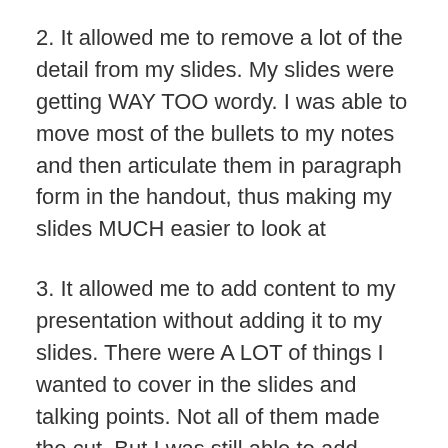2. It allowed me to remove a lot of the detail from my slides. My slides were getting WAY TOO wordy. I was able to move most of the bullets to my notes and then articulate them in paragraph form in the handout, thus making my slides MUCH easier to look at
3. It allowed me to add content to my presentation without adding it to my slides. There were A LOT of things I wanted to cover in the slides and talking points. Not all of them made the cut. But I was still able to add them to the handout. People appreciated the extra content, even though I didn't talk about it, and because I thought